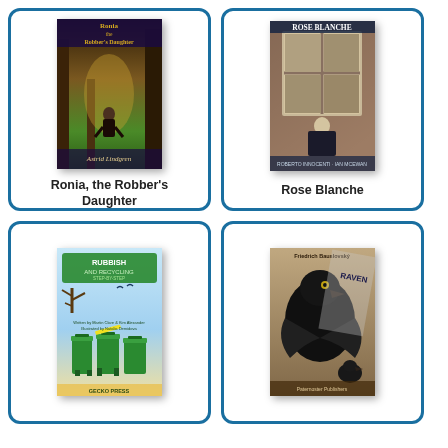[Figure (illustration): Book cover of 'Ronia, the Robber's Daughter' by Astrid Lindgren showing a girl in a forest]
Ronia, the Robber's Daughter
[Figure (illustration): Book cover of 'Rose Blanche' showing a girl by a window]
Rose Blanche
[Figure (illustration): Book cover of 'Rubbish and Recycling Step-by-Step' showing green bins]
[Figure (illustration): Book cover showing a raven, partially visible title]